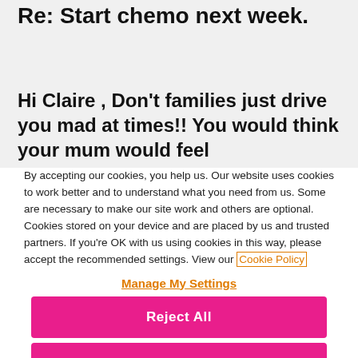Re: Start chemo next week.
Hi Claire , Don't families just drive you mad at times!! You would think your mum would feel
By accepting our cookies, you help us. Our website uses cookies to work better and to understand what you need from us. Some are necessary to make our site work and others are optional. Cookies stored on your device and are placed by us and trusted partners. If you're OK with us using cookies in this way, please accept the recommended settings. View our Cookie Policy
Manage My Settings
Reject All
Accept All Cookies